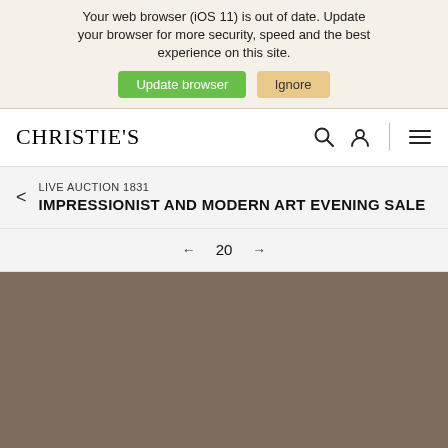Your web browser (iOS 11) is out of date. Update your browser for more security, speed and the best experience on this site. Update browser  Ignore
CHRISTIE'S
LIVE AUCTION 1831
IMPRESSIONIST AND MODERN ART EVENING SALE
← 20 →
[Figure (photo): Artwork image placeholder — brownish-taupe colored rectangle representing a painting or artwork thumbnail]